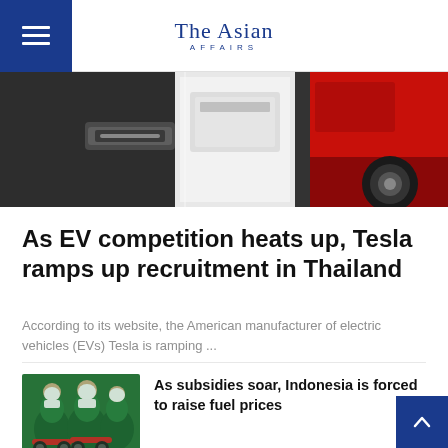The Asian Affairs
[Figure (photo): Close-up of an electric vehicle charging port with red and dark car bodies visible]
As EV competition heats up, Tesla ramps up recruitment in Thailand
According to its website, the American manufacturer of electric vehicles (EVs) Tesla is ramping ...
[Figure (photo): Group of motorbike delivery riders wearing green jackets]
As subsidies soar, Indonesia is forced to raise fuel prices
[Figure (photo): Indonesia's first high-speed railway with China-made red and white trains]
Indonesia's first high-speed railway sports China-made trains